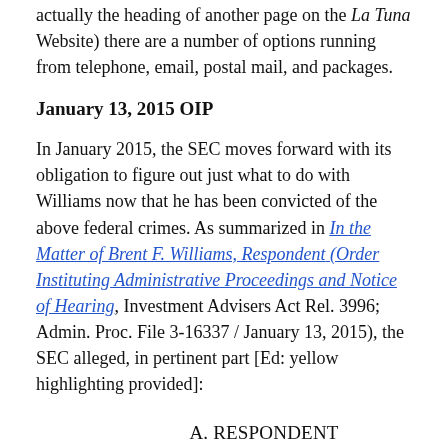actually the heading of another page on the La Tuna Website) there are a number of options running from telephone, email, postal mail, and packages.
January 13, 2015 OIP
In January 2015, the SEC moves forward with its obligation to figure out just what to do with Williams now that he has been convicted of the above federal crimes. As summarized in In the Matter of Brent F. Williams, Respondent (Order Instituting Administrative Proceedings and Notice of Hearing, Investment Advisers Act Rel. 3996; Admin. Proc. File 3-16337 / January 13, 2015), the SEC alleged, in pertinent part [Ed: yellow highlighting provided]:
A. RESPONDENT